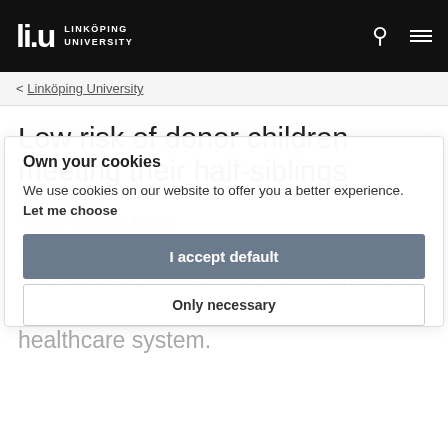Linköping University
< Linköping University
Low risk of donor children meeting their half-siblings
30 June 2015
Therese Ekstrand Amaya
More and more children are conceived via assisted conception. But there is a lack of clear regulations in the healthcare system.
Own your cookies
We use cookies on our website to offer you a better experience. Let me choose
I accept default
Only necessary